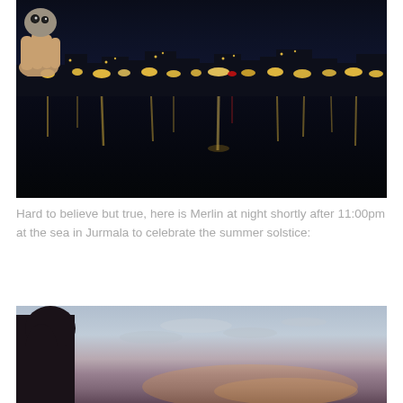[Figure (photo): Nighttime photo of a toy (Merlin) being held up in front of a waterfront cityscape. City lights reflect on dark water. Dark blue/black sky.]
Hard to believe but true, here is Merlin at night shortly after 11:00pm at the sea in Jurmala to celebrate the summer solstice:
[Figure (photo): Twilight/dusk photo at the sea showing a silhouette of a toy figure against a pale sky with scattered clouds and a warm horizon glow.]